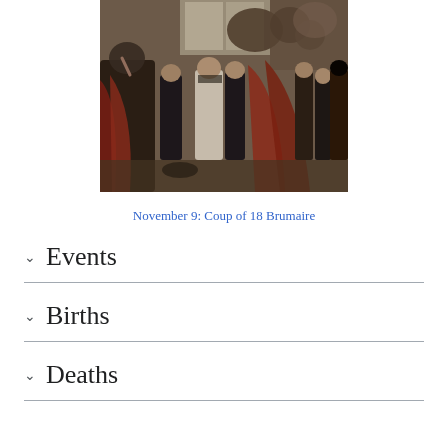[Figure (photo): Historical painting of the Coup of 18 Brumaire showing Napoleon confronting figures in a grand hall, with people in period dress]
November 9: Coup of 18 Brumaire
Events
Births
Deaths